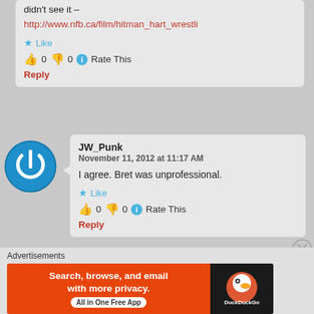didn't see it –
http://www.nfb.ca/film/hitman_hart_wrestli
★ Like
👍 0 👎 0 ℹ Rate This
Reply
[Figure (logo): Blue circular power button icon avatar]
JW_Punk
November 11, 2012 at 11:17 AM
I agree. Bret was unprofessional.
★ Like
👍 0 👎 0 ℹ Rate This
Reply
[Figure (infographic): DuckDuckGo advertisement banner: Search, browse, and email with more privacy. All in One Free App]
Advertisements